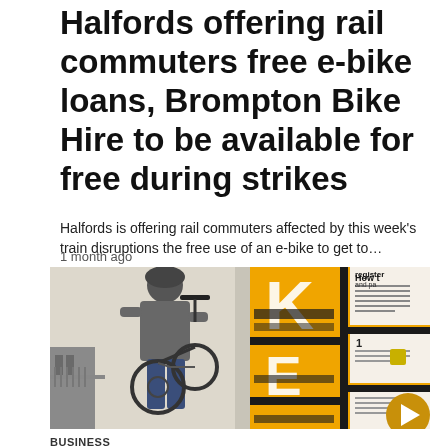Halfords offering rail commuters free e-bike loans, Brompton Bike Hire to be available for free during strikes
Halfords is offering rail commuters affected by this week's train disruptions the free use of an e-bike to get to…
1 month ago
[Figure (photo): Person carrying a folding bicycle (Brompton-style) in front of a yellow Brompton Bike Hire docking station with large letters K, E, R, E visible on yellow panels with black accents. A white 'How to' instruction panel is visible on the right side. A gold circular play button is in the bottom right corner.]
BUSINESS